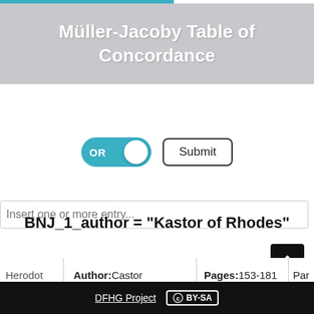Müller-Jacoby Table of Concordance
Insert one or more entry...
OR  Submit
BNJ_1_author = "Kastor of Rhodes"
Herodot  Author: Castor  Pages: 153-181  Par
DFHG Project  CC BY-SA